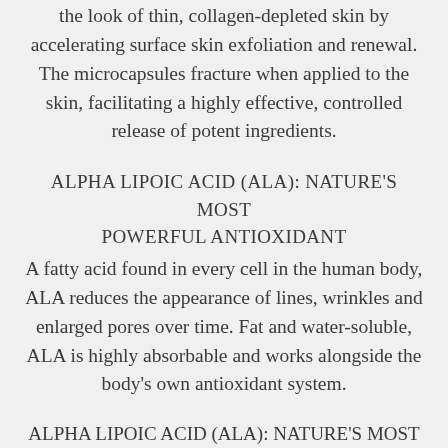the look of thin, collagen-depleted skin by accelerating surface skin exfoliation and renewal. The microcapsules fracture when applied to the skin, facilitating a highly effective, controlled release of potent ingredients.
ALPHA LIPOIC ACID (ALA): NATURE'S MOST POWERFUL ANTIOXIDANT
A fatty acid found in every cell in the human body, ALA reduces the appearance of lines, wrinkles and enlarged pores over time. Fat and water-soluble, ALA is highly absorbable and works alongside the body's own antioxidant system.
ALPHA LIPOIC ACID (ALA): NATURE'S MOST...